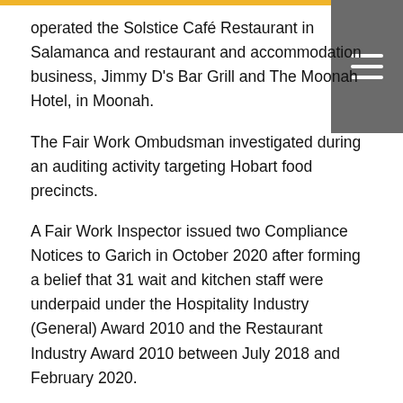operated the Solstice Café Restaurant in Salamanca and restaurant and accommodation business, Jimmy D's Bar Grill and The Moonah Hotel, in Moonah.
The Fair Work Ombudsman investigated during an auditing activity targeting Hobart food precincts.
A Fair Work Inspector issued two Compliance Notices to Garich in October 2020 after forming a belief that 31 wait and kitchen staff were underpaid under the Hospitality Industry (General) Award 2010 and the Restaurant Industry Award 2010 between July 2018 and February 2020.
They were allegedly underpaid entitlements including minimum wage rates, casual loadings, annual leave entitlements, and penalty rates for weekend, public holiday